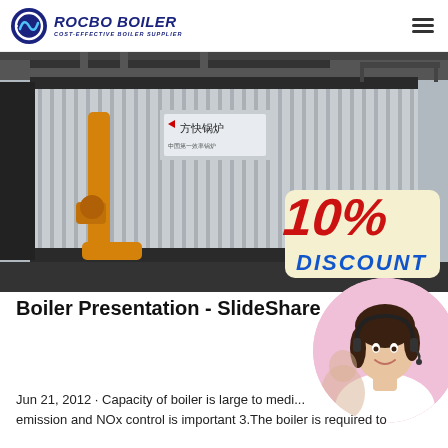ROCBO BOILER - COST-EFFECTIVE BOILER SUPPLIER
[Figure (photo): Industrial boiler unit with corrugated metal exterior, yellow gas pipes, and a 10% DISCOUNT badge overlaid in the bottom-right corner. Chinese text signage visible on the unit.]
Boiler Presentation - SlideShare
[Figure (photo): Customer service agent woman with headset smiling, circular cropped photo in bottom-right area]
Jun 21, 2012 · Capacity of boiler is large to medi... emission and NOx control is important 3.The boiler is required to